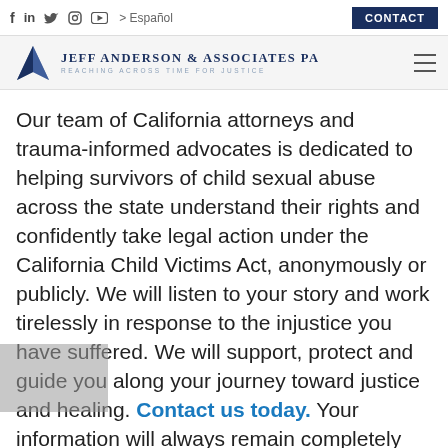f  in  y  [Instagram]  [YouTube]  > Español  CONTACT
[Figure (logo): Jeff Anderson & Associates PA logo — triangle/arrow mark with firm name and tagline 'Reaching Across Time For Justice']
Our team of California attorneys and trauma-informed advocates is dedicated to helping survivors of child sexual abuse across the state understand their rights and confidently take legal action under the California Child Victims Act, anonymously or publicly. We will listen to your story and work tirelessly in response to the injustice you have suffered. We will support, protect and guide you along your journey toward justice and healing. Contact us today. Your information will always remain completely confidential.